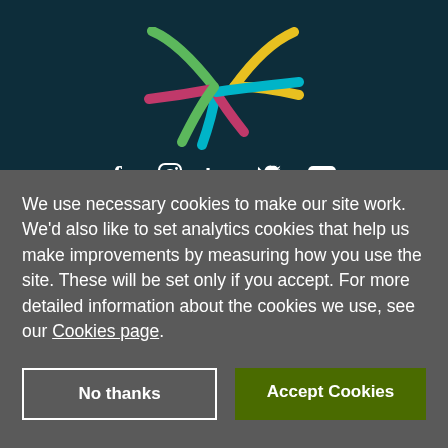[Figure (logo): Colorful X-shaped logo with curved arms in green, yellow, pink/magenta, and cyan/blue on dark teal background]
[Figure (infographic): Social media icons row: Facebook (f), Instagram, LinkedIn (in), Twitter bird, YouTube play button — white icons on dark teal background]
We use necessary cookies to make our site work. We'd also like to set analytics cookies that help us make improvements by measuring how you use the site. These will be set only if you accept. For more detailed information about the cookies we use, see our Cookies page.
No thanks
Accept Cookies